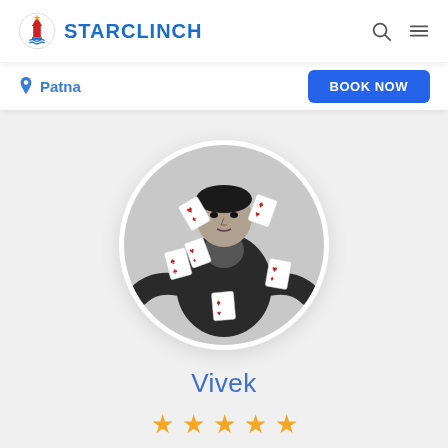STARCLINCH
Patna
BOOK NOW
[Figure (photo): Circular profile photo of Vivek, a magician in black and white, with playing cards floating around him, wearing a dark jacket]
Vivek
★★★★★